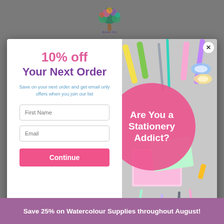[Figure (logo): Rowan Tree shop logo — illustrated tree with colourful leaves above stylized brand name text]
[Figure (photo): Pop-up modal overlay on a stationery shop website. Left white panel with '10% off Your Next Order' offer, email signup form fields for First Name and Email, and a Continue button. Right panel shows a flat-lay photo of stationery items (pens, markers, highlighters, notebooks, washi tape) with a pink circle overlay reading 'Are You a Stationery Addict?' and an X close button.]
10% off Your Next Order
Save on your next order and get email only offers when you join our list
Continue
Are You a Stationery Addict?
Save 25% on Watercolour Supplies throughout August!